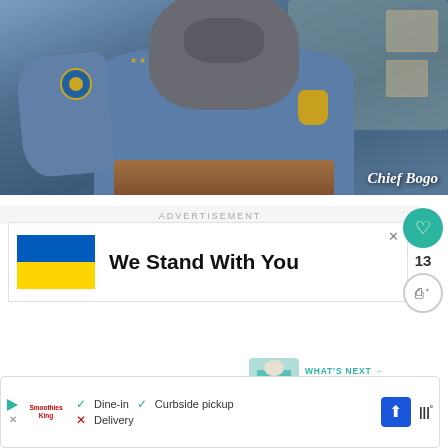[Figure (screenshot): Screenshot of Chief Bogo from Zootopia, a large buffalo/bison character in a blue police uniform with badge and name tag, shown from torso up, holding a podium. Text overlay 'Chief Bogo' in bottom right.]
Chief Bogo
ADVERTISEMENT
[Figure (screenshot): Advertisement banner with Ukraine flag (blue and yellow) on the left and bold text 'We Stand With You' on the right. Close X button in top right corner.]
We Stand With You
13
WHAT'S NEXT → Disney Elsa Frozen Feve...
[Figure (screenshot): Bottom advertisement bar showing Smoothies King logo with play button and X, checkmarks for Dine-in and Curbside pickup, X for Delivery, navigation arrow icon, and temperature display.]